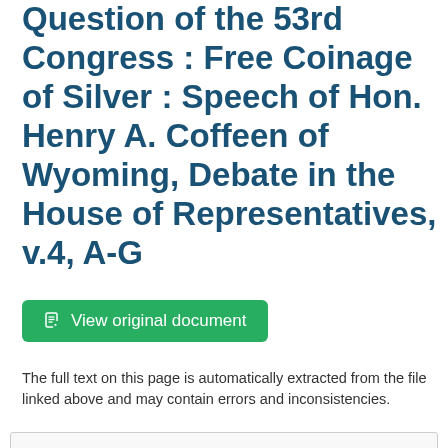Question of the 53rd Congress : Free Coinage of Silver : Speech of Hon. Henry A. Coffeen of Wyoming, Debate in the House of Representatives, v.4, A-G
View original document
The full text on this page is automatically extracted from the file linked above and may contain errors and inconsistencies.